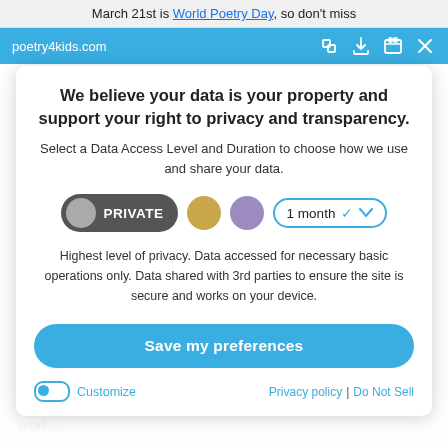March 21st is World Poetry Day, so don't miss
poetry4kids.com
We believe your data is your property and support your right to privacy and transparency.
Select a Data Access Level and Duration to choose how we use and share your data.
[Figure (infographic): Privacy level selector row with PRIVATE pill button (grey circle + dark background), gold dot, purple dot, and 1 month duration dropdown]
Highest level of privacy. Data accessed for necessary basic operations only. Data shared with 3rd parties to ensure the site is secure and works on your device.
Save my preferences
Customize
Privacy policy | Do Not Sell